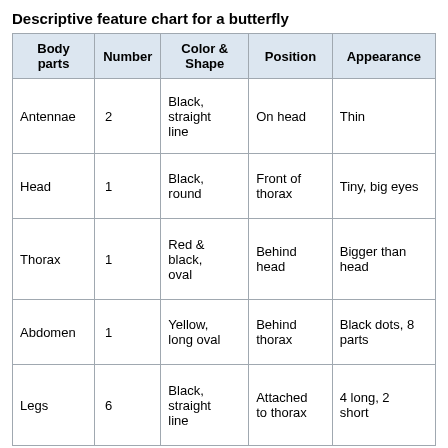Descriptive feature chart for a butterfly
| Body parts | Number | Color & Shape | Position | Appearance |
| --- | --- | --- | --- | --- |
| Antennae | 2 | Black, straight line | On head | Thin |
| Head | 1 | Black, round | Front of thorax | Tiny, big eyes |
| Thorax | 1 | Red & black, oval | Behind head | Bigger than head |
| Abdomen | 1 | Yellow, long oval | Behind thorax | Black dots, 8 parts |
| Legs | 6 | Black, straight line | Attached to thorax | 4 long, 2 short |